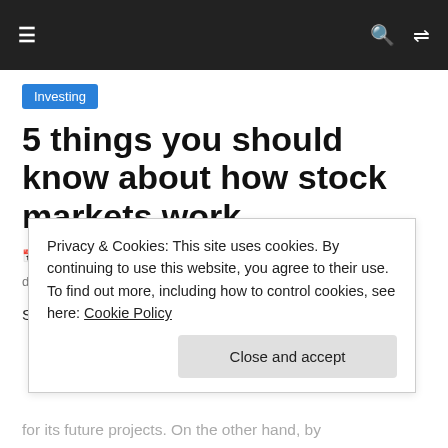≡  🔍  ⇄
Investing
5 things you should know about how stock markets work
August 2, 2019  dsm  0 Comments  dividend, investing, IPO, stock
Stock markets are followed by millions of people on
Privacy & Cookies: This site uses cookies. By continuing to use this website, you agree to their use. To find out more, including how to control cookies, see here: Cookie Policy
Close and accept
for its future projects. On the other hand, by